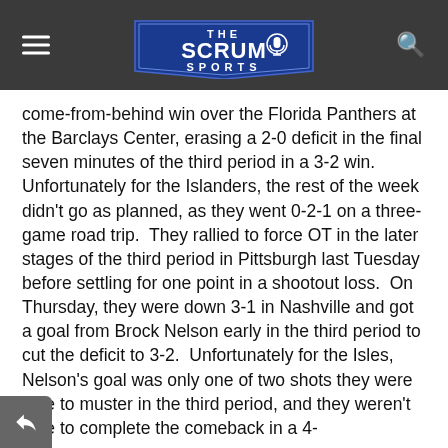THE SCRUM SPORTS
come-from-behind win over the Florida Panthers at the Barclays Center, erasing a 2-0 deficit in the final seven minutes of the third period in a 3-2 win. Unfortunately for the Islanders, the rest of the week didn't go as planned, as they went 0-2-1 on a three-game road trip.  They rallied to force OT in the later stages of the third period in Pittsburgh last Tuesday before settling for one point in a shootout loss.  On Thursday, they were down 3-1 in Nashville and got a goal from Brock Nelson early in the third period to cut the deficit to 3-2.  Unfortunately for the Isles, Nelson's goal was only one of two shots they were able to muster in the third period, and they weren't able to complete the comeback in a 4-